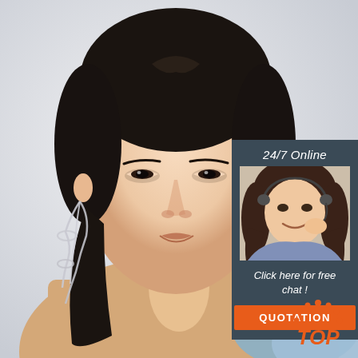[Figure (photo): A young Asian female model with dark hair pulled back, wearing long dangling silver earrings, bare shoulder with a light blue garment, posed against a light grey/white background.]
[Figure (infographic): A dark teal/slate colored chat widget overlay in the upper right showing '24/7 Online' text, a smiling female customer service agent with headset, 'Click here for free chat!' text, and an orange QUOTATION button.]
[Figure (logo): Orange 'TOP' logo with dot pattern forming a house/circle arc above the letters, positioned at bottom right.]